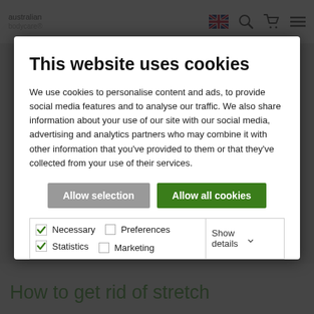australian [logo]
This website uses cookies
We use cookies to personalise content and ads, to provide social media features and to analyse our traffic. We also share information about your use of our site with our social media, advertising and analytics partners who may combine it with other information that you've provided to them or that they've collected from your use of their services.
Allow selection | Allow all cookies
| ☑ Necessary | ☐ Preferences | ☑ Statistics | Show details ∨ |
| ☐ Marketing |  |  |  |
How to get rid of stretch